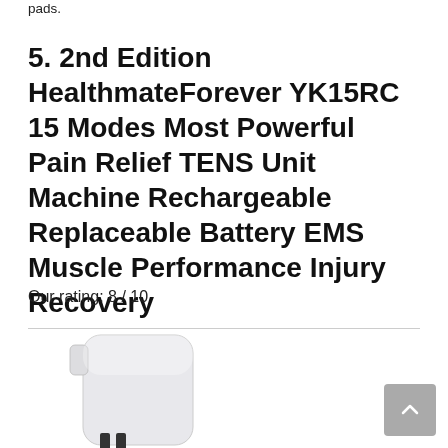pads.
5. 2nd Edition HealthmateForever YK15RC 15 Modes Most Powerful Pain Relief TENS Unit Machine Rechargeable Replaceable Battery EMS Muscle Performance Injury Recovery
Our rating: 8 / 10
[Figure (photo): White USB power adapter/charger with two prongs, photographed from the front on a white background.]